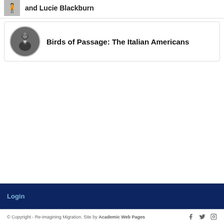and Lucie Blackburn
Birds of Passage: The Italian Americans
Login
© Copyright - Re-imagining Migration. Site by Academic Web Pages